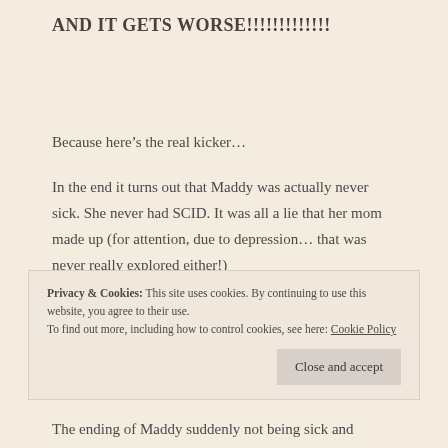AND IT GETS WORSE!!!!!!!!!!!!!
Because here’s the real kicker…
In the end it turns out that Maddy was actually never sick. She never had SCID. It was all a lie that her mom made up (for attention, due to depression… that was never really explored either!)
Privacy & Cookies: This site uses cookies. By continuing to use this website, you agree to their use.
To find out more, including how to control cookies, see here: Cookie Policy
The ending of Maddy suddenly not being sick and